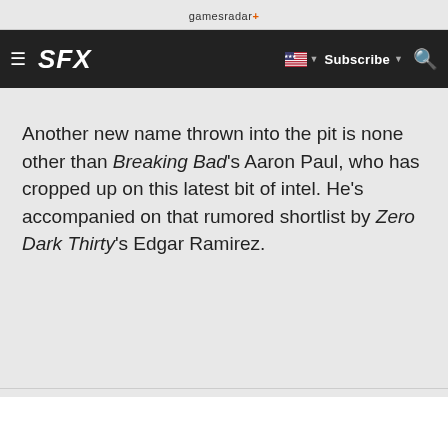gamesradar+
[Figure (screenshot): SFX website navigation bar with hamburger menu, SFX logo, US flag language selector, Subscribe button, and search icon on dark background]
Another new name thrown into the pit is none other than Breaking Bad's Aaron Paul, who has cropped up on this latest bit of intel. He's accompanied on that rumored shortlist by Zero Dark Thirty's Edgar Ramirez.